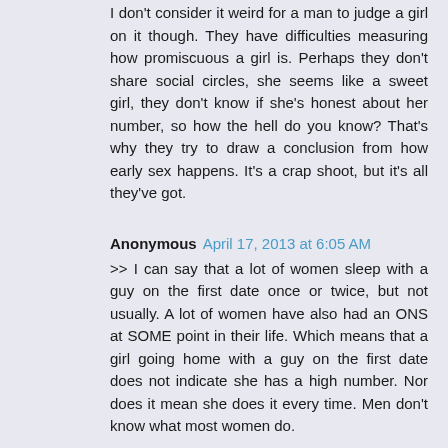I don't consider it weird for a man to judge a girl on it though. They have difficulties measuring how promiscuous a girl is. Perhaps they don't share social circles, she seems like a sweet girl, they don't know if she's honest about her number, so how the hell do you know? That's why they try to draw a conclusion from how early sex happens. It's a crap shoot, but it's all they've got.
Anonymous April 17, 2013 at 6:05 AM
>> I can say that a lot of women sleep with a guy on the first date once or twice, but not usually. A lot of women have also had an ONS at SOME point in their life. Which means that a girl going home with a guy on the first date does not indicate she has a high number. Nor does it mean she does it every time. Men don't know what most women do.
Yes we do. Previous cock-carousel riding means